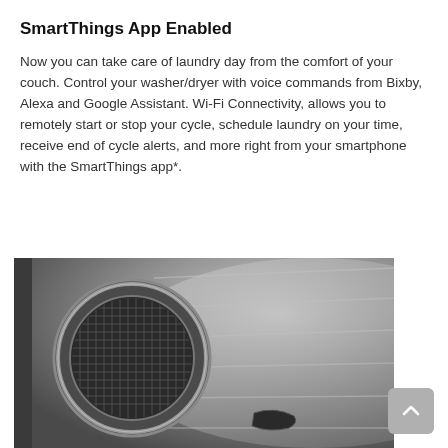SmartThings App Enabled
Now you can take care of laundry day from the comfort of your couch. Control your washer/dryer with voice commands from Bixby, Alexa and Google Assistant. Wi-Fi Connectivity, allows you to remotely start or stop your cycle, schedule laundry on your time, receive end of cycle alerts, and more right from your smartphone with the SmartThings app*.
[Figure (photo): Close-up photograph of the interior drum of a Samsung washing machine or dryer, showing the stainless steel drum interior with a circular mesh/perforated speaker or filter component on the left side.]